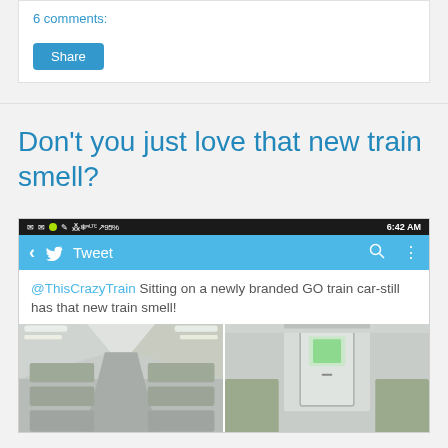6 comments:
Share
Don't you just love that new train smell?
[Figure (screenshot): Screenshot of a Twitter app on an Android phone showing a tweet by @ThisCrazyTrain: 'Sitting on a newly branded GO train car-still has that new train smell!' with two photos of train car interiors.]